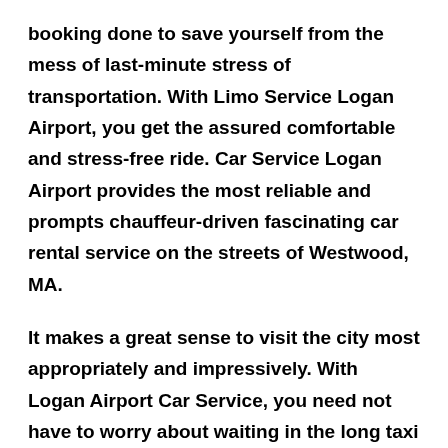booking done to save yourself from the mess of last-minute stress of transportation. With Limo Service Logan Airport, you get the assured comfortable and stress-free ride. Car Service Logan Airport provides the most reliable and prompts chauffeur-driven fascinating car rental service on the streets of Westwood, MA.
It makes a great sense to visit the city most appropriately and impressively. With Logan Airport Car Service, you need not have to worry about waiting in the long taxi queues, stressing about the parking of your car or adjusting in the economic seating of public transport.
At Car Service Boston Airport, we make it a point to